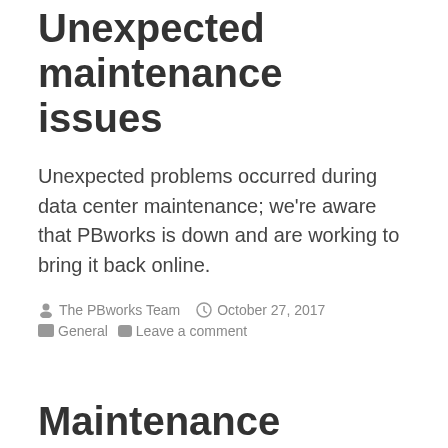Unexpected maintenance issues
Unexpected problems occurred during data center maintenance; we're aware that PBworks is down and are working to bring it back online.
By The PBworks Team  |  October 27, 2017  |  General  |  Leave a comment
Maintenance Notice: October 10/11
Starting at 10 PM Pacific on October 10 (1 AM